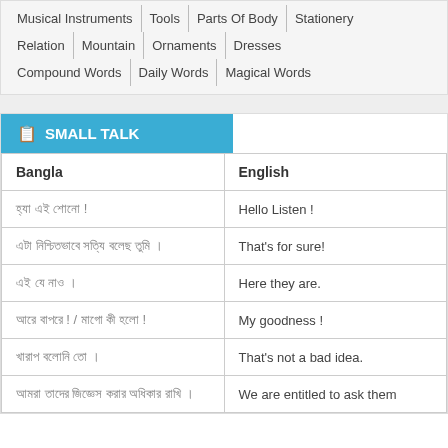Musical Instruments | Tools | Parts Of Body | Stationery |
Relation | Mountain | Ornaments | Dresses |
Compound Words | Daily Words | Magical Words |
SMALL TALK
| Bangla | English |
| --- | --- |
| হ্যা এই শোনো ! | Hello Listen ! |
| এটা নিশ্চিতভাবে সত্যি বলেছ তুমি । | That's for sure! |
| এই যে নাও । | Here they are. |
| আরে বাপরে ! / মাগো কী হলো ! | My goodness ! |
| খারাপ বলোনি তো । | That's not a bad idea. |
| আমরা তাদের জিজ্ঞেস করার অধিকার রাখি । | We are entitled to ask them |